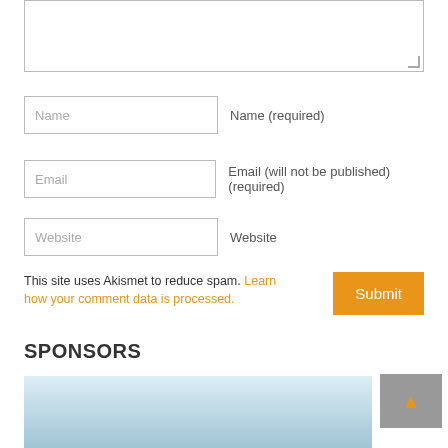[Figure (screenshot): Comment textarea input box (empty, with resize handle)]
Name
Name (required)
Email
Email (will not be published) (required)
Website
Website
This site uses Akismet to reduce spam. Learn how your comment data is processed.
Submit
SPONSORS
[Figure (photo): Sponsor image / advertisement photo, partially visible]